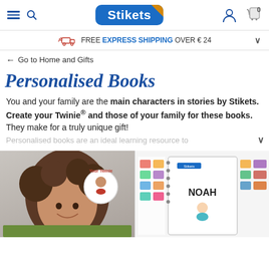Stikets navigation header with hamburger menu, search icon, Stikets logo, user icon, and cart (0)
FREE EXPRESS SHIPPING OVER € 24
← Go to Home and Gifts
Personalised Books
You and your family are the main characters in stories by Stikets. Create your Twinie® and those of your family for these books. They make for a truly unique gift! Personalised books are an ideal learning resource to
[Figure (photo): Child with curly hair smiling, with a circular Twinie avatar sticker overlay labeled 'Your Twinie', and book thumbnails at bottom]
[Figure (photo): Personalised sticker book open showing name NOAH with cartoon character and colorful stickers]